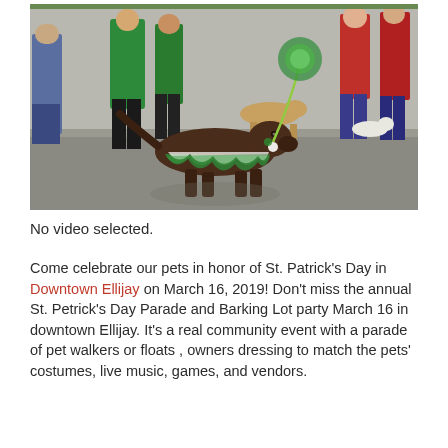[Figure (photo): Outdoor St. Patrick's Day parade scene with people walking dogs dressed in green and white tutus and costumes along a street. A chocolate lab wearing a green and white tutu is prominently featured in the foreground.]
No video selected.
Come celebrate our pets in honor of St. Patrick's Day in Downtown Ellijay on March 16, 2019! Don't miss the annual St. Petrick's Day Parade and Barking Lot party March 16 in downtown Ellijay. It's a real community event with a parade of pet walkers or floats , owners dressing to match the pets' costumes, live music, games, and vendors.